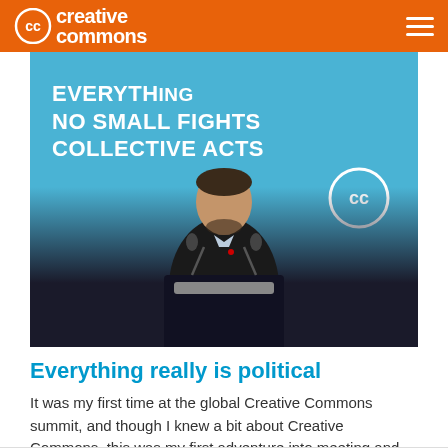Creative Commons
[Figure (photo): A man in a dark suit speaking at a podium with microphones in front of a blue presentation screen displaying 'EVERYTHING NO SMALL FIGHTS COLLECTIVE ACTS' with a Creative Commons logo visible on the right side of the screen.]
Everything really is political
It was my first time at the global Creative Commons summit, and though I knew a bit about Creative Commons, this was my first adventure into meeting and learning from the community.
EVENTS